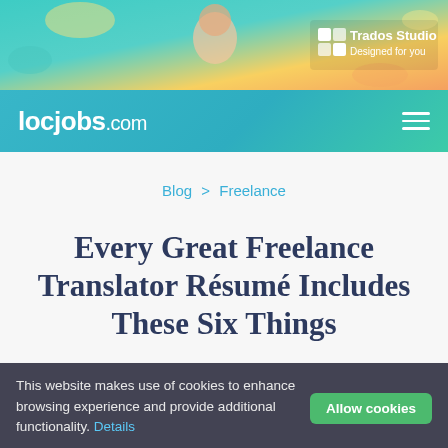[Figure (screenshot): Trados Studio advertisement banner with colorful gradient background, a woman smiling, and Trados Studio logo with text 'Designed for you']
locjobs.com
Blog > Freelance
Every Great Freelance Translator Résumé Includes These Six Things
This website makes use of cookies to enhance browsing experience and provide additional functionality. Details    Allow cookies